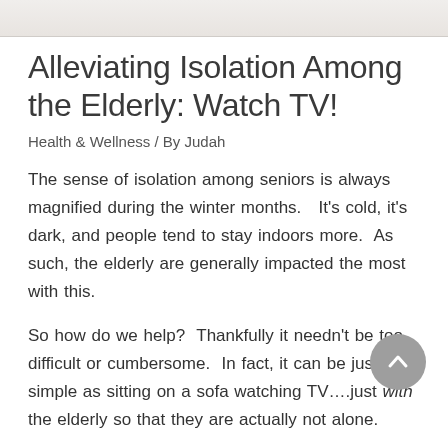[Figure (photo): Top portion of an image visible at the top of the page, showing a light-colored background scene (partially cropped).]
Alleviating Isolation Among the Elderly: Watch TV!
Health & Wellness / By Judah
The sense of isolation among seniors is always magnified during the winter months.   It's cold, it's dark, and people tend to stay indoors more.  As such, the elderly are generally impacted the most with this.
So how do we help?  Thankfully it needn't be too difficult or cumbersome.  In fact, it can be just as simple as sitting on a sofa watching TV….just with the elderly so that they are actually not alone.
Volunteering Matters — a leading UK charity made up of